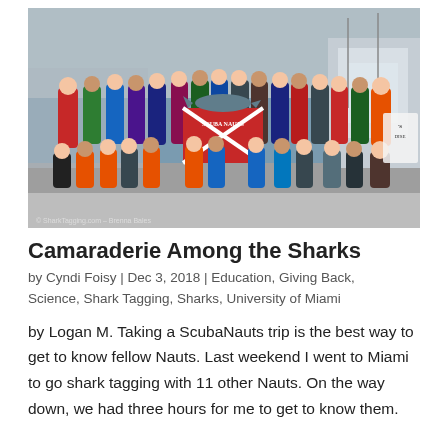[Figure (photo): Group photo of ScubaNauts students and instructors at a marina dock, holding a red scuba/dive flag with a shark logo. Students are in two rows, wearing colorful shirts. Boats and water visible in background. Watermark reads: © SharkTagging.com – Brenna Bales]
Camaraderie Among the Sharks
by Cyndi Foisy | Dec 3, 2018 | Education, Giving Back, Science, Shark Tagging, Sharks, University of Miami
by Logan M. Taking a ScubaNauts trip is the best way to get to know fellow Nauts. Last weekend I went to Miami to go shark tagging with 11 other Nauts. On the way down, we had three hours for me to get to know them.